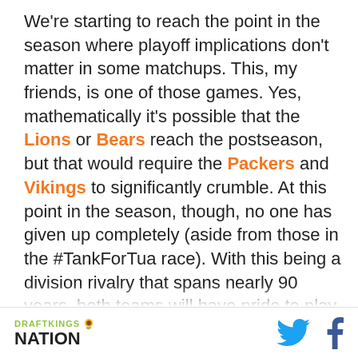We're starting to reach the point in the season where playoff implications don't matter in some matchups. This, my friends, is one of those games. Yes, mathematically it's possible that the Lions or Bears reach the postseason, but that would require the Packers and Vikings to significantly crumble. At this point in the season, though, no one has given up completely (aside from those in the #TankForTua race). With this being a division rivalry that spans nearly 90 years, both teams will have pride to play for, at the very least.

In the first four games of the season, Chicago's defense had allowed 11.25 points per game. Over the previous four, it has more than doubled that average
DRAFTKINGS NATION